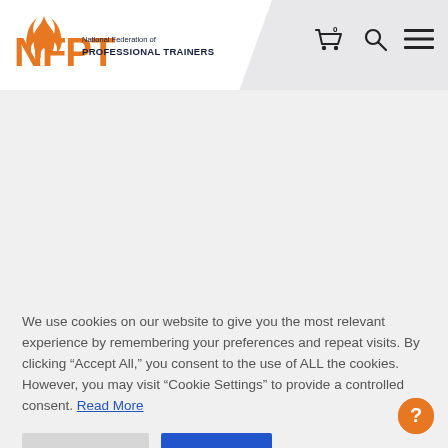[Figure (logo): NFPT - National Federation of Professional Trainers logo with orange flame icon and orange NFPT letters]
[Figure (other): Shopping cart icon with 0 badge, search icon, and hamburger menu icon in top right navigation]
CERTIFICATION
Certification Process
Certification Exam
Testing Locations
EDUCATION
Continuing Ed Courses
Free CECs
We use cookies on our website to give you the most relevant experience by remembering your preferences and repeat visits. By clicking “Accept All,” you consent to the use of ALL the cookies. However, you may visit “Cookie Settings” to provide a controlled consent. Read More